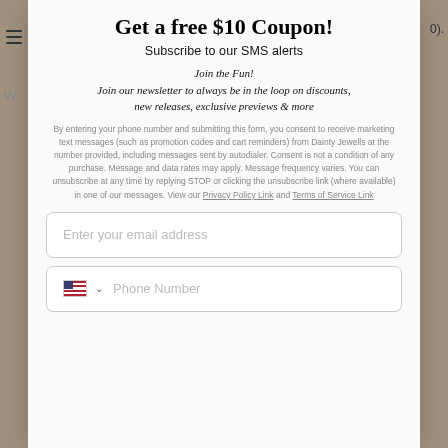Get a free $10 Coupon!
Subscribe to our SMS alerts
Join the Fun!
Join our newsletter to always be in the loop on discounts, new releases, exclusive previews & more
By entering your phone number and submitting this form, you consent to receive marketing text messages (such as promotion codes and cart reminders) from Dainty Jewells at the number provided, including messages sent by autodialer. Consent is not a condition of any purchase. Message and data rates may apply. Message frequency varies. You can unsubscribe at any time by replying STOP or clicking the unsubscribe link (where available) in one of our messages. View our Privacy Policy Link and Terms of Service Link
Enter your email address
Phone Number